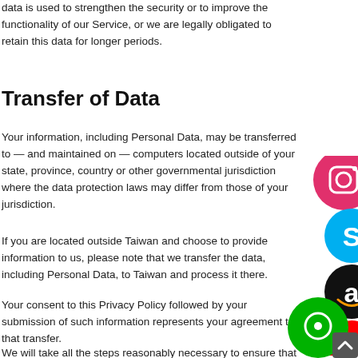data is used to strengthen the security or to improve the functionality of our Service, or we are legally obligated to retain this data for longer periods.
Transfer of Data
Your information, including Personal Data, may be transferred to — and maintained on — computers located outside of your state, province, country or other governmental jurisdiction where the data protection laws may differ from those of your jurisdiction.
If you are located outside Taiwan and choose to provide information to us, please note that we transfer the data, including Personal Data, to Taiwan and process it there.
Your consent to this Privacy Policy followed by your submission of such information represents your agreement to that transfer.
We will take all the steps reasonably necessary to ensure that your data